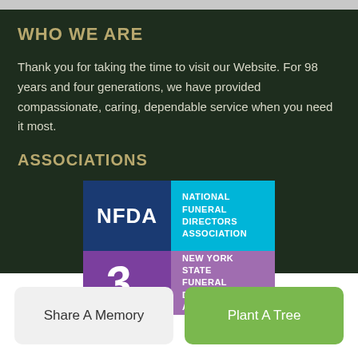WHO WE ARE
Thank you for taking the time to visit our Website. For 98 years and four generations, we have provided compassionate, caring, dependable service when you need it most.
ASSOCIATIONS
[Figure (logo): NFDA - National Funeral Directors Association logo (blue square with NFDA text, cyan square with full name)]
[Figure (logo): New York State Funeral Directors Association logo (purple square with stylized lettering, lighter purple square with text)]
Share A Memory
Plant A Tree